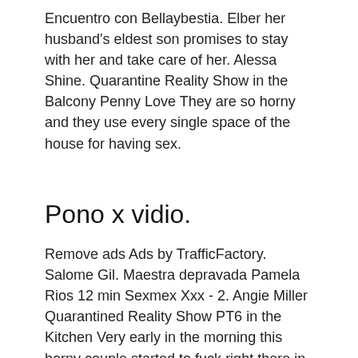Encuentro con Bellaybestia. Elber her husband's eldest son promises to stay with her and take care of her. Alessa Shine. Quarantine Reality Show in the Balcony Penny Love They are so horny and they use every single space of the house for having sex.
Pono x vidio.
Remove ads Ads by TrafficFactory. Salome Gil. Maestra depravada Pamela Rios 12 min Sexmex Xxx - 2. Angie Miller Quarantined Reality Show PT6 in the Kitchen Very early in the morning this horny couple started to fuck right there in the kitchen while the others were having their breakfast. Madre e hija igual de putas 13 min Lasky - Claudia Valenzuela is pregnant and has become a widow. Salome Gil. Perverted Teachers Chap. Housewife cheats on husband with a young neighbor.